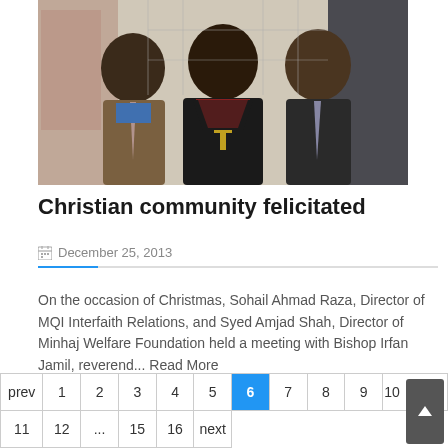[Figure (photo): Three men standing together, the man in the center wearing black clerical robes with a gold cross necklace, flanked by two men in suits]
Christian community felicitated
December 25, 2013
On the occasion of Christmas, Sohail Ahmad Raza, Director of MQI Interfaith Relations, and Syed Amjad Shah, Director of Minhaj Welfare Foundation held a meeting with Bishop Irfan Jamil, reverend... Read More
| prev | 1 | 2 | 3 | 4 | 5 | 6 | 7 | 8 | 9 | 10 |
| --- | --- | --- | --- | --- | --- | --- | --- | --- | --- | --- |
| 11 | 12 | ... | 15 | 16 | next |  |  |  |  |  |